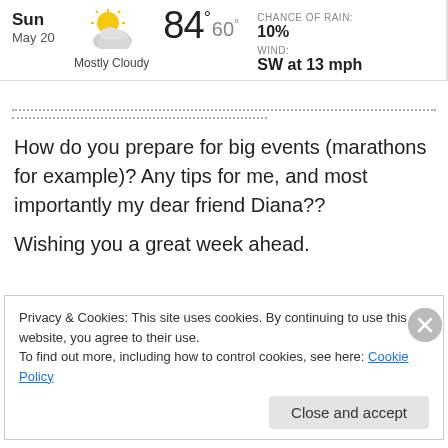[Figure (infographic): Weather widget showing Sun May 20 with a mostly cloudy icon (sun and clouds), temperature 84° high and 60° low, Chance of Rain: 10%, Wind: SW at 13 mph]
How do you prepare for big events (marathons for example)? Any tips for me, and most importantly my dear friend Diana??
Wishing you a great week ahead.
Privacy & Cookies: This site uses cookies. By continuing to use this website, you agree to their use.
To find out more, including how to control cookies, see here: Cookie Policy